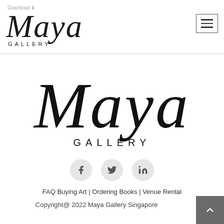Download
[Figure (logo): Maya Gallery logo (small, in header) — script 'Maya' text above 'GALLERY' in spaced caps]
[Figure (logo): Maya Gallery logo (large, center) — large script 'Maya' above 'GALLERY' in spaced caps]
[Figure (infographic): Social media icons row: Facebook (f), Twitter (bird), LinkedIn (in) — each in a light grey circle]
FAQ Buying Art | Ordering Books | Venue Rental
Copyright@ 2022 Maya Gallery Singapore